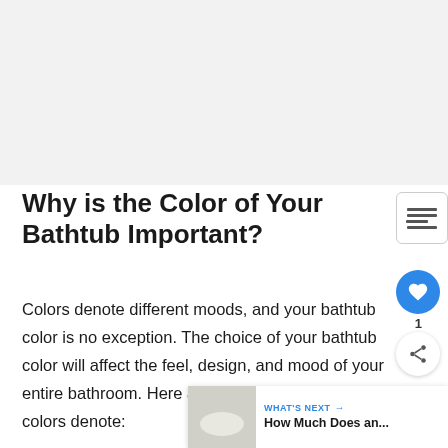[Figure (other): Gray advertisement placeholder area at the top of the page]
Why is the Color of Your Bathtub Important?
Colors denote different moods, and your bathtub color is no exception. The choice of your bathtub color will affect the feel, design, and mood of your entire bathroom. Here are the moods that different colors denote: